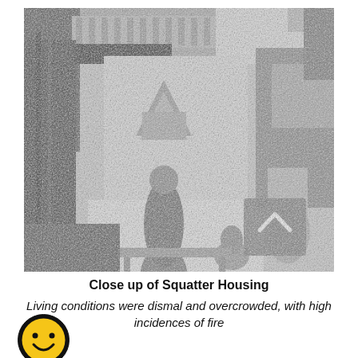[Figure (photo): Black and white photograph showing a close-up of squatter housing. People and various items are visible in a narrow alleyway between densely packed structures with makeshift roofing. A grey navigation button with a chevron up arrow is visible in the lower right of the image.]
Close up of Squatter Housing
Living conditions were dismal and overcrowded, with high incidences of fire
[Figure (illustration): Smiley face emoji icon: yellow circle with black border, two black dot eyes, and a black curved smile.]